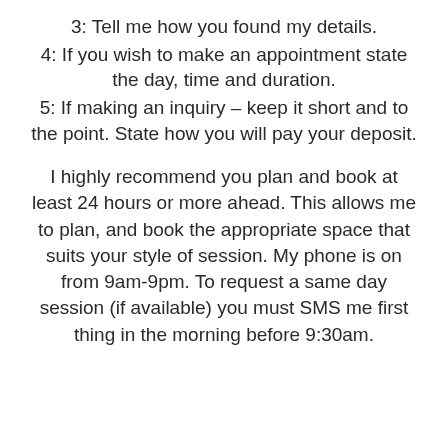3: Tell me how you found my details.
4: If you wish to make an appointment state the day, time and duration.
5: If making an inquiry – keep it short and to the point. State how you will pay your deposit.
I highly recommend you plan and book at least 24 hours or more ahead. This allows me to plan, and book the appropriate space that suits your style of session. My phone is on from 9am-9pm. To request a same day session (if available) you must SMS me first thing in the morning before 9:30am.